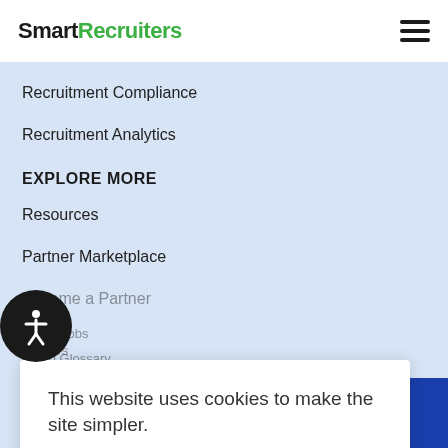SmartRecruiters
Recruitment Compliance
Recruitment Analytics
EXPLORE MORE
Resources
Partner Marketplace
Become a Partner
Latest Jobs
Hiring Glossary
Blog
COMPANY
[Figure (screenshot): Cookie consent modal overlay with text 'This website uses cookies to make the site simpler.' with Read More and Cookie settings links and an ACCEPT button]
Careers
LEARN MORE
JOB SEEKERS